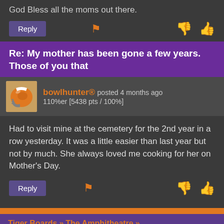God Bless all the moms out there.
[Reply button, flag icon, thumbs down, thumbs up]
Re: My mother has been gone a few years. Those of you that
bowlhunter® posted 4 months ago
110%er [5438 pts / 100%]
Had to visit mine at the cemetery for the 2nd year in a row yesterday. It was a little easier than last year but not by much. She always loved me cooking for her on Mother's Day.
[Reply button, flag icon, thumbs down, thumbs up]
Tiger Boards » The Amphitheatre »